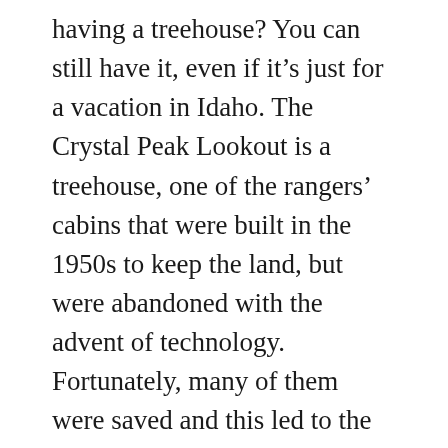having a treehouse? You can still have it, even if it's just for a vacation in Idaho. The Crystal Peak Lookout is a treehouse, one of the rangers' cabins that were built in the 1950s to keep the land, but were abandoned with the advent of technology. Fortunately, many of them were saved and this led to the creation of this hotel in the middle of the forest which was decorated by designer Kristie Wolf. It's not easy to get there, especially if you go there in winter and during the snow season, but the effort is worth it because from there you have a view of the 13 hectares of forest that surround the place (and you'll have your own sauna to